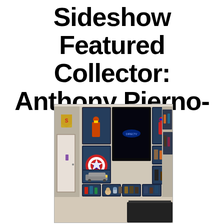Sideshow Featured Collector: Anthony Pierno-Main
[Figure (photo): A home entertainment wall with illuminated display shelves containing collectible figurines and memorabilia, including Marvel superheroes, Star Wars figures, and a Back to the Future DeLorean. A large flat-screen TV is mounted in the center. The shelves are backlit with blue/teal LED lighting.]